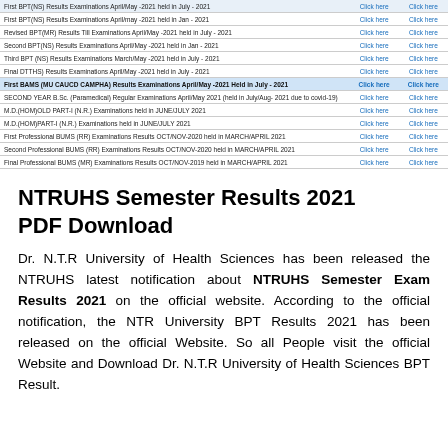| Examination | Click here | Click here |
| --- | --- | --- |
| First BPT(NS) Results Examinations April/May -2021 held in July - 2021 | Click here | Click here |
| First BPT(NS) Results Examinations April/may -2021 held in Jan - 2021 | Click here | Click here |
| Revised BPT(MR) Results Till Examinations April/May -2021 held in July - 2021 | Click here | Click here |
| Second BPT(NS) Results Examinations April/May -2021 held in Jan - 2021 | Click here | Click here |
| Third BPT (NS) Results Examinations March/May -2021 held in July - 2021 | Click here | Click here |
| Final DTTHS) Results Examinations April/May -2021 held in July - 2021 | Click here | Click here |
| First BAMS (MU CAUCD CAMPHA) Results Examinations April/May -2021 Held in July - 2021 | Click here | Click here |
| SECOND YEAR B.Sc. (Paramedical) Regular Examinations April/May 2021 (held in July/Aug- 2021 due to covid-19) | Click here | Click here |
| M.D.(HOM)OLD PART-I (N.R.) Examinations held in JUNE/JULY 2021 | Click here | Click here |
| M.D.(HOM)PART-I (N.R.) Examinations held in JUNE/JULY 2021 | Click here | Click here |
| First Professional BUMS (RR) Examinations Results OCT/NOV-2020 held in MARCH/APRIL 2021 | Click here | Click here |
| Second Professional BUMS (RR) Examinations Results OCT/NOV-2020 held in MARCH/APRIL 2021 | Click here | Click here |
| Final Professional BUMS (MR) Examinations Results OCT/NOV-2019 held in MARCH/APRIL 2021 | Click here | Click here |
| Third Professional BUMS (RR) Examinations Results OCT/NOV-2020 held in MARCH/APRIL 2021 | Click here | Click here |
NTRUHS Semester Results 2021 PDF Download
Dr. N.T.R University of Health Sciences has been released the NTRUHS latest notification about NTRUHS Semester Exam Results 2021 on the official website. According to the official notification, the NTR University BPT Results 2021 has been released on the official Website. So all People visit the official Website and Download Dr. N.T.R University of Health Sciences BPT Result.